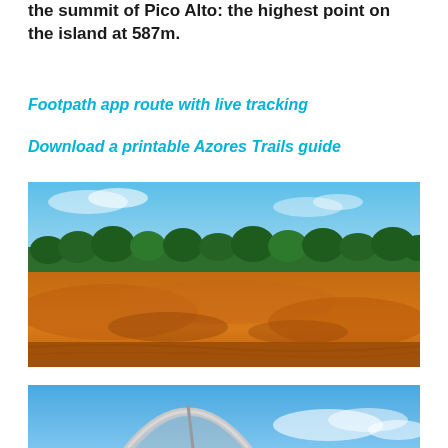the summit of Pico Alto: the highest point on the island at 587m.
Footpath app route with live tracking
Download a printable Azores Trails guide
[Figure (photo): Aerial landscape photo showing orange-red sandy terrain with rolling dune-like formations in the foreground, dense green trees in the background, and a blue sky above.]
[Figure (photo): Photo showing a large satellite dish antenna against a blue sky with clouds.]